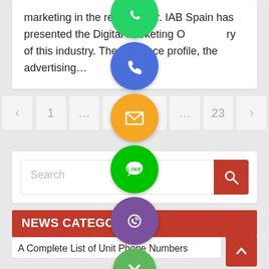marketing in the retail sector. IAB Spain has presented the Digital Marketing Observatory of this industry. The audience profile, the advertising…
[Figure (screenshot): Pagination bar with page numbers: left arrow, 1, ..., 18, 19 (current), 20, ..., 23, right arrow. Overlaid social sharing icons column including WhatsApp (green), phone/call (blue-purple), email (orange), LINE (green), Viber (purple), close (green X).]
Search
NEWS CATEGORIES
A Complete List of Unit Phone Numbers